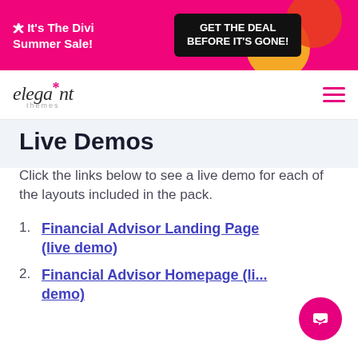[Figure (screenshot): Pink promotional banner with text 'It's The Divi Summer Sale!' and black button 'GET THE DEAL BEFORE IT'S GONE!' with yellow and orange decorative blobs]
[Figure (logo): Elegant Themes logo in italic serif font with pink asterisk and 'themes' subtext, plus pink hamburger menu icon]
Live Demos
Click the links below to see a live demo for each of the layouts included in the pack.
Financial Advisor Landing Page (live demo)
Financial Advisor Homepage (live demo)